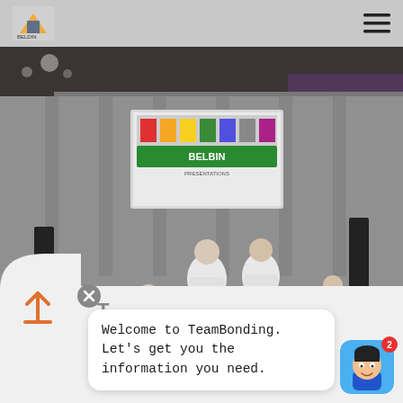[Figure (photo): Website screenshot showing a TeamBonding event photo. People in white coveralls working at tables in a conference/banquet hall. A screen at the front shows a Belbin presentation. Purple lighting in background. Navigation bar at top with logo and hamburger menu.]
Welcome to TeamBonding. Let's get you the information you need.